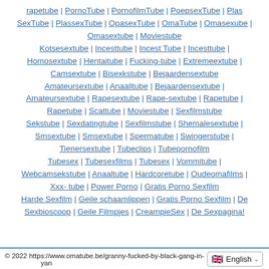rapetube | PornoTube | PornofilmTube | PoepsexTube | PlasSexTube | PlassexTube | OpasexTube | OmaTube | Omasexube | Omasextube | Moviestube Kotsesextube | Incesttube | Incest Tube | Incesttube | Homosextube | Hentaitube | Fucking-tube | Extremeextube | Camsextube | Bisexkstube | Bejaardensextube Amateursextube | Anaalltube | Bejaardensextube | Amateursextube | Rapesextube | Rape-sextube | Rapetube | Rapetube | Scattube | Moviestube | Sexfilmstube Sekstube | Sexdatingtube | Sexfilmstube | Shemalesextube | Smsextube | Smsextube | Spermatube | Swingerstube | Tienersextube | Tubeclips | Tubepornofilm Tubesex | Tubesexfilms | Tubesex | Vommitube | Webcamsekstube | Anaaltube | Hardcoretube | Oudeomafilms | Xxx- tube | Power Porno | Gratis Porno Sexfilm Harde Sexfilm | Geile schaamlippen | Gratis Porno Sexfilm | De Sexbioscoop | Geile Filmpjes | CreampieSex | De Sexpagina!
© 2022 https://www.omatube.be/granny-fucked-by-black-gang-in-yan...